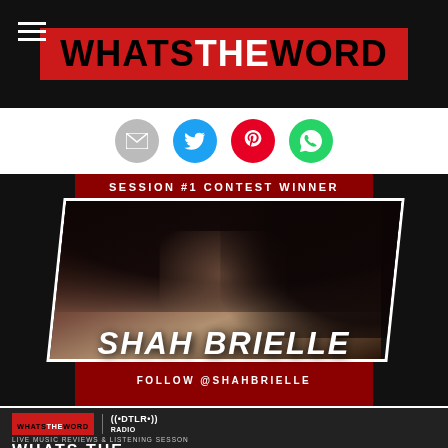WHATS THE WORD
[Figure (infographic): Social sharing icons: email (gray), Twitter (blue), Pinterest (red), WhatsApp (green)]
[Figure (photo): SESSION #1 CONTEST WINNER promotional image featuring Shah Brielle, a woman with large curly natural hair wearing a black jacket, with white-bordered photo frame on dark red background. Name text: SHAH BRIELLE, FOLLOW @SHAHBRIELLE]
[Figure (infographic): Bottom promo block showing WHATS THE WORD and DTLR Radio logos, text: LIVE MUSIC REVIEWS & LISTENING SESSON, WHATS THE]